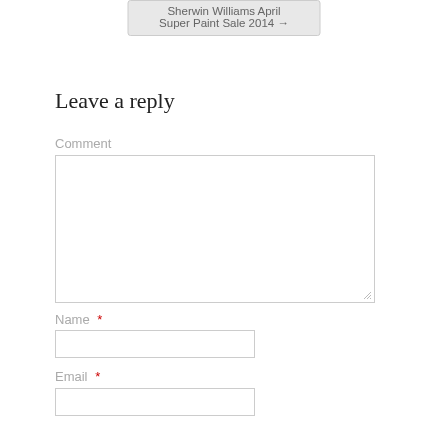Sherwin Williams April Super Paint Sale 2014 →
Leave a reply
Comment
Name *
Email *